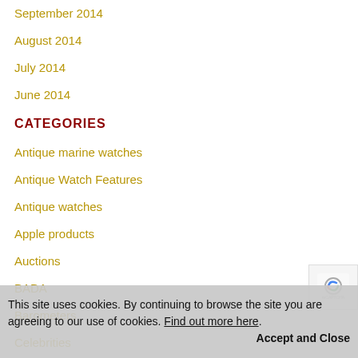September 2014
August 2014
July 2014
June 2014
CATEGORIES
Antique marine watches
Antique Watch Features
Antique watches
Apple products
Auctions
BADA
Barometers
Celebrities
Civil servants
half hunter watches
history of watches
loctori
longines
This site uses cookies. By continuing to browse the site you are agreeing to our use of cookies. Find out more here. Accept and Close